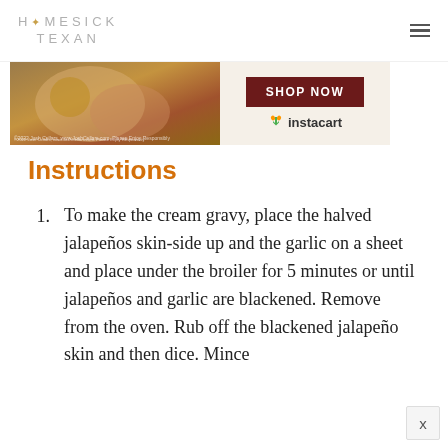HOMESICK TEXAN
[Figure (photo): Advertisement banner for Josh Cellars wine with food photo on the left and 'SHOP NOW' button with Instacart logo on the right]
Instructions
To make the cream gravy, place the halved jalapeños skin-side up and the garlic on a sheet and place under the broiler for 5 minutes or until jalapeños and garlic are blackened. Remove from the oven. Rub off the blackened jalapeño skin and then dice. Mince...